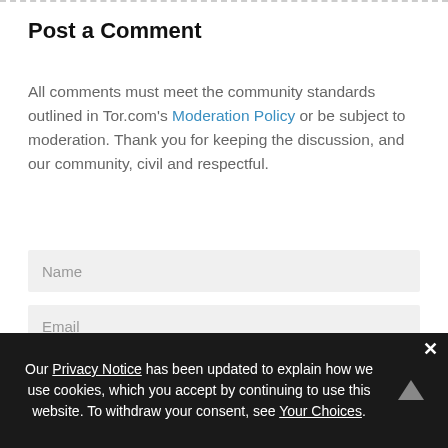Post a Comment
All comments must meet the community standards outlined in Tor.com's Moderation Policy or be subject to moderation. Thank you for keeping the discussion, and our community, civil and respectful.
[Figure (screenshot): Name input field (gray background, placeholder text 'Name')]
[Figure (screenshot): Email input field (gray background, placeholder text 'Email')]
[Figure (screenshot): Text editor toolbar with Bold, Italic, Strikethrough, Underline, Quote, Font Color, Highlight buttons]
Our Privacy Notice has been updated to explain how we use cookies, which you accept by continuing to use this website. To withdraw your consent, see Your Choices.